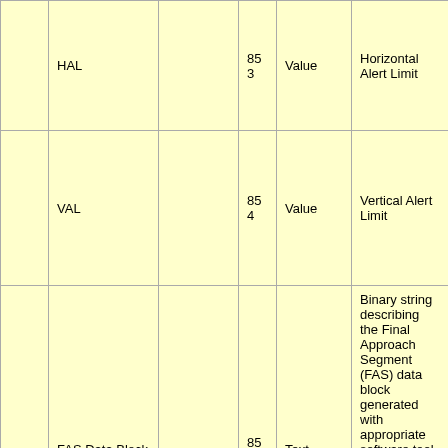|  | Name |  | ID | Type | Description |
| --- | --- | --- | --- | --- | --- |
|  | HAL |  | 853 | Value | Horizontal Alert Limit |
|  | VAL |  | 854 | Value | Vertical Alert Limit |
|  | FAS Data Block |  | 855 | Text | Binary string describing the Final Approach Segment (FAS) data block generated with appropriate software tool. The FAS data block is set of parameters to identify a single precision approach or APV and define its associated approach |
|  | CRC Remainder |  | 856 | Text | An 8-character hexadecimal representation of the calculated\nremainder bits used to determine... |